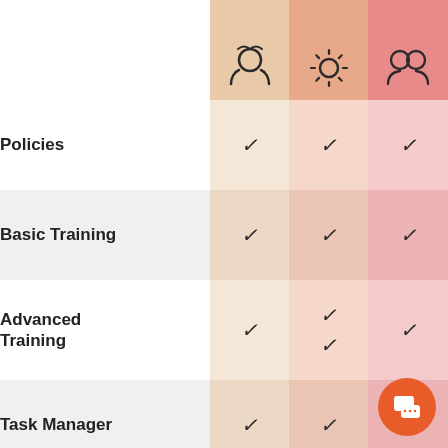| Feature | Plan 1 | Plan 2 | Plan 3 |
| --- | --- | --- | --- |
| Policies | ✓ | ✓ | ✓ |
| Basic Training | ✓ | ✓ | ✓ |
| Advanced Training | ✓ | ✓ ✓ | ✓ |
| Task Manager | ✓ | ✓ | ✓ |
| Online Support | ✓ | ✓ | ✓ |